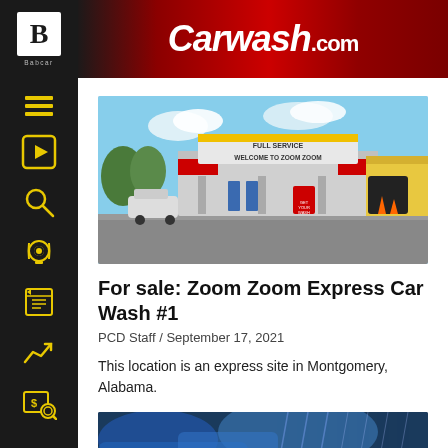Carwash.com
[Figure (photo): Exterior photo of Zoom Zoom Express Car Wash with a large canopy sign reading 'WELCOME TO ZOOM ZOOM', cars in the lot, and a yellow building visible on the right.]
For sale: Zoom Zoom Express Car Wash #1
PCD Staff / September 17, 2021
This location is an express site in Montgomery, Alabama.
[Figure (photo): Partial view of a second article image — appears to show a blue car wash tunnel.]